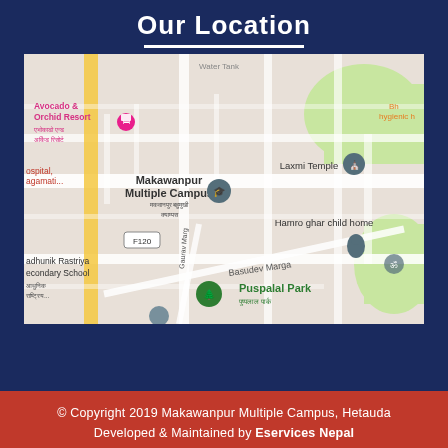Our Location
[Figure (map): Google Maps screenshot showing the area around Makawanpur Multiple Campus in Hetauda, Nepal. Visible landmarks include Avocado & Orchid Resort, Laxmi Temple, Hamro ghar child home, Puspalal Park, Madhunik Rastriya Secondary School, and road Basudev Marga. Road F120 is labeled.]
© Copyright 2019 Makawanpur Multiple Campus, Hetauda
Developed & Maintained by Eservices Nepal